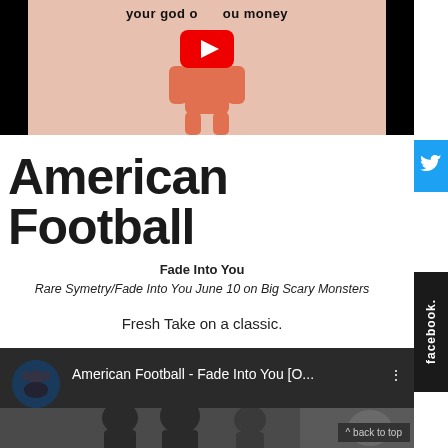[Figure (screenshot): YouTube video thumbnail showing pink/orange animated figure with text 'your god owes you money' and YouTube play button on black background]
American Football
Fade Into You
Rare Symetry/Fade Into You June 10 on Big Scary Monsters
Fresh Take on a classic.
[Figure (screenshot): YouTube video embed showing 'American Football - Fade Into You [O...' with people visible in background]